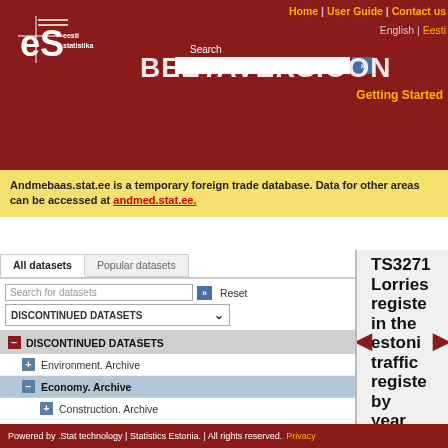[Figure (screenshot): Estonian Statistics (Eesti Statistika) logo — white ES letters on dark red background with horizontal lines]
Home | User Guide | Contact us
English | Eesti
Search BEETAVERSIOON
Getting Started
Andmebaas.stat.ee is a temporary foreign trade database. Data for other areas can be accessed at andmed.stat.ee.
All datasets | Popular datasets
Search for datasets | Reset
DISCONTINUED DATASETS
− DISCONTINUED DATASETS
+ Environment. Archive
− Economy. Archive
+ Construction. Archive
+ Energy. Archive
+ Financial statistics of enterprises. Archive
+ Prices. Archive
+ Information technology and communications. Archive
+ Hunting. Archive
+ Fishing. Archive
TS3271 Lorries registered in the estonian traffic register by year of production and make,
Powered by .Stat technology | Statistics Estonia. | All rights reserved. Privacy